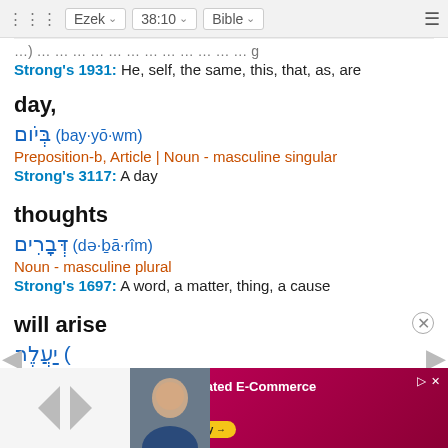Ezek  38:10  Bible
Strong's 1931: He, self, the same, this, that, as, are
day,
בְּיֹום (bay·yō·wm)
Preposition-b, Article | Noun - masculine singular
Strong's 3117: A day
thoughts
דְּבָרִים (də·ḇā·rîm)
Noun - masculine plural
Strong's 1697: A word, a matter, thing, a cause
will arise
[Figure (screenshot): Advertisement banner: B2B Integrated E-Commerce is the Future, with photo of smiling woman and Find out Why button]